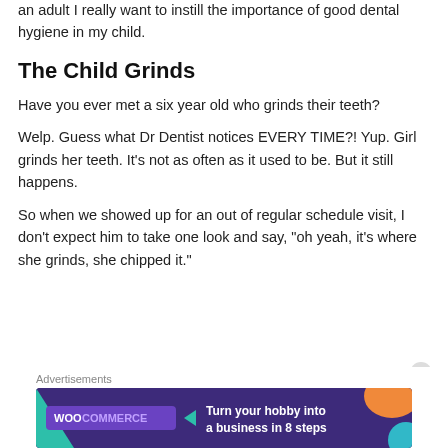an adult I really want to instill the importance of good dental hygiene in my child.
The Child Grinds
Have you ever met a six year old who grinds their teeth?
Welp. Guess what Dr Dentist notices EVERY TIME?! Yup. Girl grinds her teeth. It’s not as often as it used to be. But it still happens.
So when we showed up for an out of regular schedule visit, I don’t expect him to take one look and say, “oh yeah, it’s where she grinds, she chipped it.”
Advertisements
[Figure (other): WooCommerce advertisement banner: 'Turn your hobby into a business in 8 steps' on dark purple background with colorful geometric shapes]